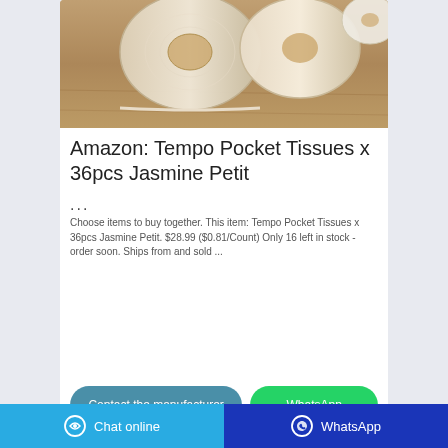[Figure (photo): Photo of toilet paper / tissue rolls on a wooden surface]
Amazon: Tempo Pocket Tissues x 36pcs Jasmine Petit
...
Choose items to buy together. This item: Tempo Pocket Tissues x 36pcs Jasmine Petit. $28.99 ($0.81/Count) Only 16 left in stock - order soon. Ships from and sold ...
Contact the manufacturer
WhatsApp
Chat online   WhatsApp